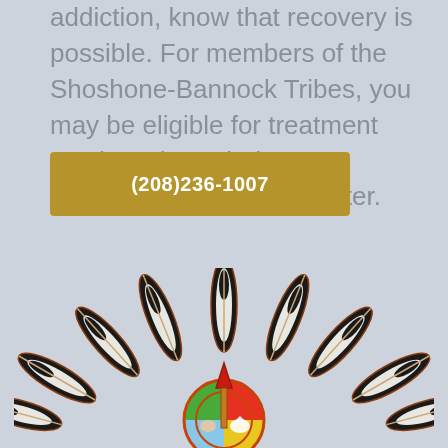addiction, know that recovery is possible. For members of the Shoshone-Bannock Tribes, you may be eligible for treatment services through the Four Directions Treatment Center.
(208)236-1007
[Figure (logo): Shoshone-Bannock Tribes seal/logo featuring eagle feathers arranged in a fan pattern surrounding a central circular emblem with a red arrowhead, a peace pipe, and tribal imagery including an eagle and other symbols on a colored background of red, yellow, and blue.]